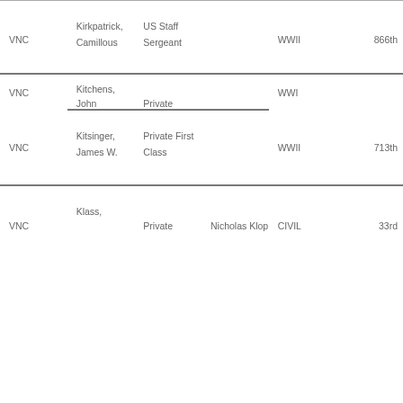| Code | Name | Rank | Extra | War | Unit |
| --- | --- | --- | --- | --- | --- |
| VNC | Kirkpatrick, Camillous | US Staff Sergeant |  | WWII | 866th |
| VNC | Kitchens, John | Private |  | WWI |  |
| VNC | Kitsinger, James W. | Private First Class |  | WWII | 713th |
| VNC | Klass, | Private | Nicholas Klop | CIVIL | 33rd |